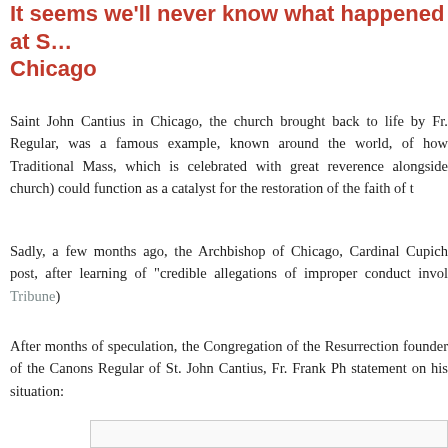It seems we'll never know what happened at St. John Cantius in Chicago
Saint John Cantius in Chicago, the church brought back to life by Fr. Regular, was a famous example, known around the world, of how Traditional Mass, which is celebrated with great reverence alongside church) could function as a catalyst for the restoration of the faith of t
Sadly, a few months ago, the Archbishop of Chicago, Cardinal Cupich post, after learning of "credible allegations of improper conduct invol Tribune)
After months of speculation, the Congregation of the Resurrection founder of the Canons Regular of St. John Cantius, Fr. Frank Ph statement on his situation: